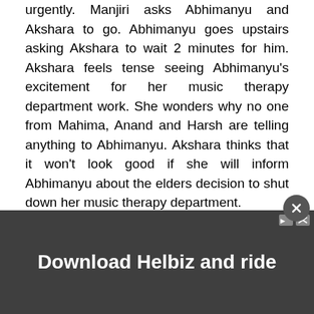urgently. Manjiri asks Abhimanyu and Akshara to go. Abhimanyu goes upstairs asking Akshara to wait 2 minutes for him. Akshara feels tense seeing Abhimanyu's excitement for her music therapy department work. She wonders why no one from Mahima, Anand and Harsh are telling anything to Abhimanyu. Akshara thinks that it won't look good if she will inform Abhimanyu about the elders decision to shut down her music therapy department.
In the next episode, Abhimanyu and Harsh will get indulged into another argument. Harsh will say they will have to shut the music therapy department (Akshara's department). Abhimanyu will say that his mother's dreams got buried in Birla house and he won't let the same happen to Akshara's dreams. He will tell Harsh that he won't let him control Akshara's dreams, ambitions and life. Abhimanyu will make sure that the music therapy department won't get shut in Birla hospital. Harsh will remain adamant saying that the music therap
[Figure (other): Advertisement overlay banner reading 'Download Helbiz and ride' with a close (X) button and ad controls, partially covering the lower portion of the page text.]